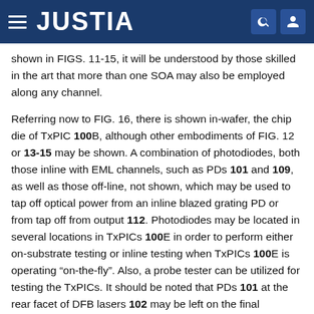JUSTIA
shown in FIGS. 11-15, it will be understood by those skilled in the art that more than one SOA may also be employed along any channel.
Referring now to FIG. 16, there is shown in-wafer, the chip die of TxPIC 100B, although other embodiments of FIG. 12 or 13-15 may be shown. A combination of photodiodes, both those inline with EML channels, such as PDs 101 and 109, as well as those off-line, not shown, which may be used to tap off optical power from an inline blazed grating PD or from tap off from output 112. Photodiodes may be located in several locations in TxPICs 100E in order to perform either on-substrate testing or inline testing when TxPICs 100E is operating “on-the-fly”. Also, a probe tester can be utilized for testing the TxPICs. It should be noted that PDs 101 at the rear facet of DFB lasers 102 may be left on the final